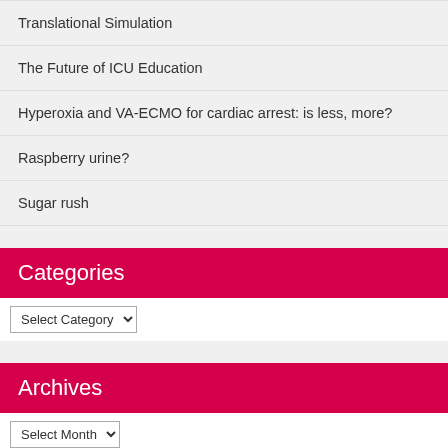Translational Simulation
The Future of ICU Education
Hyperoxia and VA-ECMO for cardiac arrest: is less, more?
Raspberry urine?
Sugar rush
Categories
Select Category
Archives
Select Month